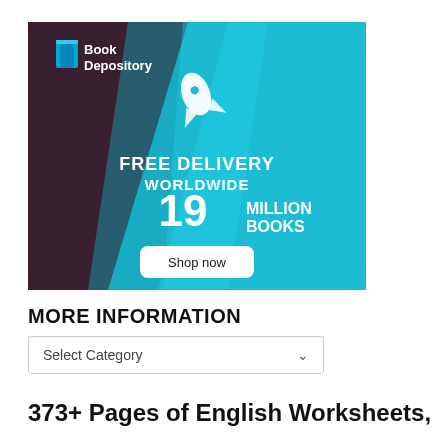[Figure (infographic): Book Depository advertisement banner. Dark purple/maroon left side with Book Depository logo (blue book icon and white text 'Book Depository'). Teal/cyan right side with a rocket icon and white text: 'FREE DELIVERY WORLDWIDE', '19 MILLION BOOKS', and a white rounded rectangle button with dark text 'Shop now'.]
MORE INFORMATION
Select Category
373+ Pages of English Worksheets,